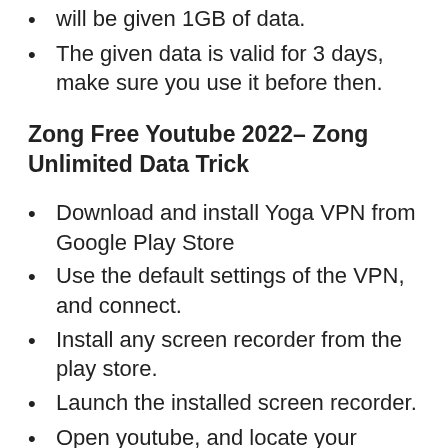will be given 1GB of data.
The given data is valid for 3 days, make sure you use it before then.
Zong Free Youtube 2022– Zong Unlimited Data Trick
Download and install Yoga VPN from Google Play Store
Use the default settings of the VPN, and connect.
Install any screen recorder from the play store.
Launch the installed screen recorder.
Open youtube, and locate your desired movie.
Watch the movie, the whole movie will be recorded and saved in a folder